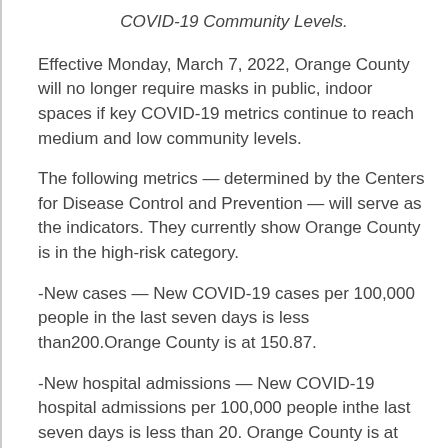COVID-19 Community Levels.
Effective Monday, March 7, 2022, Orange County will no longer require masks in public, indoor spaces if key COVID-19 metrics continue to reach medium and low community levels.
The following metrics — determined by the Centers for Disease Control and Prevention — will serve as the indicators. They currently show Orange County is in the high-risk category.
-New cases — New COVID-19 cases per 100,000 people in the last seven days is less than200.Orange County is at 150.87.
-New hospital admissions — New COVID-19 hospital admissions per 100,000 people inthe last seven days is less than 20. Orange County is at 28.29.